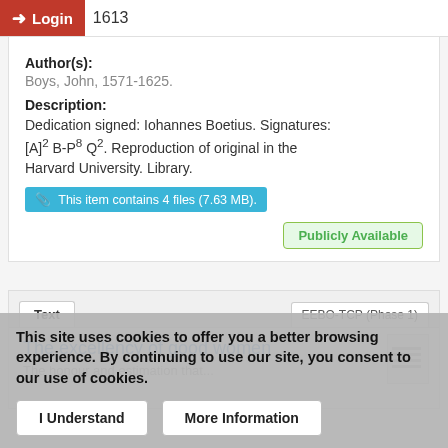Login — 1613
Author(s): Boys, John, 1571-1625.
Description: Dedication signed: Iohannes Boetius. Signatures: [A]² B-P⁸ Q². Reproduction of original in the Harvard University. Library.
This item contains 4 files (7.63 MB).
Publicly Available
Text   EEBO-TCP (Phase 1)
The excellency of good women
The honour and estimation that...
This site uses cookies to offer you a better browsing experience. By continuing to use our site, you consent to our use of cookies.
I Understand   More Information